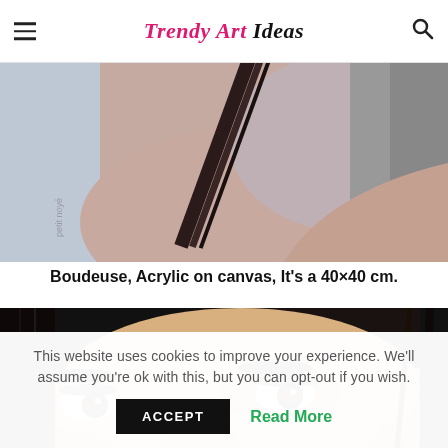Trendy Art Ideas
[Figure (photo): Close-up painting of a woman's neck and shoulder with a dark strap — Boudeuse acrylic painting detail]
Boudeuse, Acrylic on canvas, It's a 40×40 cm.
[Figure (photo): Close-up hyper-realistic painting of a woman's face showing eyes, nose, and ear with a pearl earring]
This website uses cookies to improve your experience. We'll assume you're ok with this, but you can opt-out if you wish.